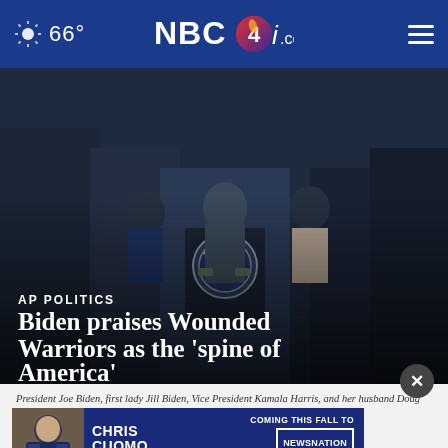66° NBC4i.com
[Figure (photo): Dark photo showing figures standing at a presidential podium with the presidential seal, in a formal setting. Multiple people visible in suits and uniforms.]
AP POLITICS
Biden praises Wounded Warriors as the 'spine of America'
President Joe Biden, first lady Jill Biden, Vice President Kamala Harris, and her husband Doug Emhoff attend an event at the White House in Washington. Read More
[Figure (screenshot): Advertisement banner for Chris Cuomo coming to NewsNation this fall. Shows a photo of Chris Cuomo on left, text 'CHRIS CUOMO' in large letters, and 'COMING THIS FALL TO NEWSNATION FIND YOUR CHANNEL' on right.]